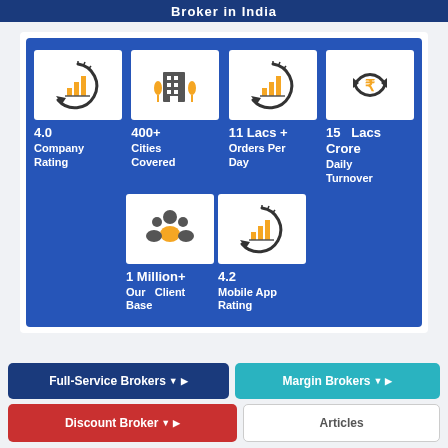Broker in India
[Figure (infographic): Blue panel with 6 stat tiles: Company Rating 4.0, Cities Covered 400+, Orders Per Day 11 Lacs+, Daily Turnover 15 Lacs Crore, Our Client Base 1 Million+, Mobile App Rating 4.2. Each stat has a white icon box above.]
Full-Service Brokers
Margin Brokers
Discount Broker
Articles